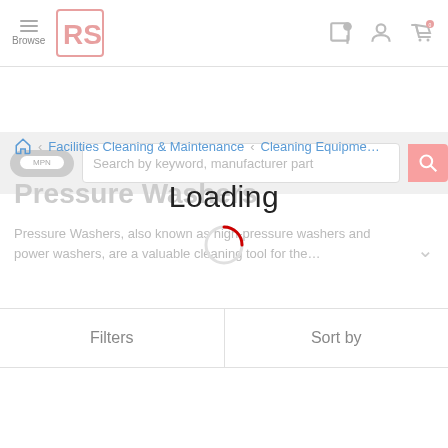[Figure (screenshot): RS Components website header with hamburger menu (Browse), RS logo, search bar with MPN toggle, and icons for wishlist, account, and cart (showing 0 items).]
Search by keyword, manufacturer part
Facilities Cleaning & Maintenance < Cleaning Equipment
Pressure Washers
Pressure Washers, also known as high-pressure washers and power washers, are a valuable cleaning tool for the...
Filters
Sort by
Loading